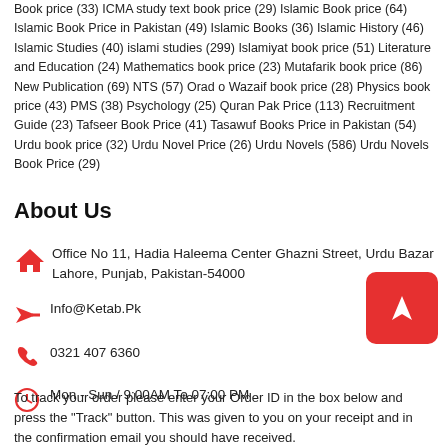Book price (33) ICMA study text book price (29) Islamic Book price (64) Islamic Book Price in Pakistan (49) Islamic Books (36) Islamic History (46) Islamic Studies (40) islami studies (299) Islamiyat book price (51) Literature and Education (24) Mathematics book price (23) Mutafarik book price (86) New Publication (69) NTS (57) Orad o Wazaif book price (28) Physics book price (43) PMS (38) Psychology (25) Quran Pak Price (113) Recruitment Guide (23) Tafseer Book Price (41) Tasawuf Books Price in Pakistan (54) Urdu book price (32) Urdu Novel Price (26) Urdu Novels (586) Urdu Novels Book Price (29)
About Us
Office No 11, Hadia Haleema Center Ghazni Street, Urdu Bazar Lahore, Punjab, Pakistan-54000
Info@Ketab.Pk
0321 407 6360
Mon - Sun / 9:00AM To 07:00 PM
To track your order please enter your Order ID in the box below and press the "Track" button. This was given to you on your receipt and in the confirmation email you should have received.